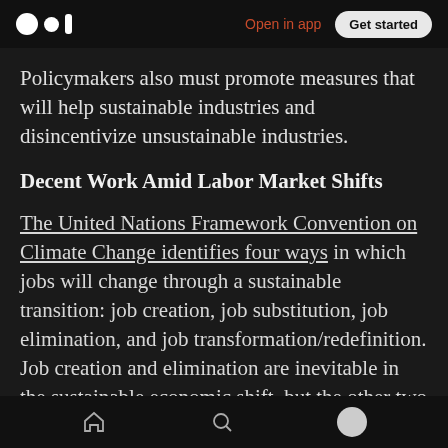Medium logo | Open in app | Get started
Policymakers also must promote measures that will help sustainable industries and disincentivize unsustainable industries.
Decent Work Amid Labor Market Shifts
The United Nations Framework Convention on Climate Change identifies four ways in which jobs will change through a sustainable transition: job creation, job substitution, job elimination, and job transformation/redefinition. Job creation and elimination are inevitable in the sustainable economic shift, but the other two
Home | Search | Profile